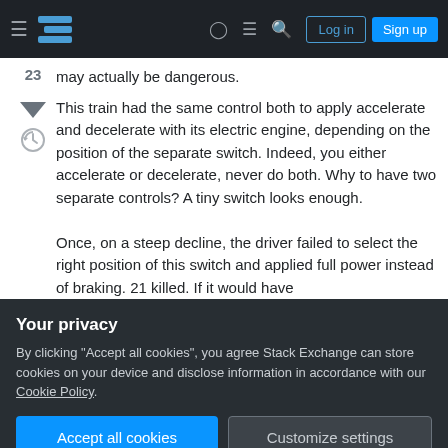Stack Exchange navigation bar with Log in and Sign up buttons
may actually be dangerous.
This train had the same control both to apply accelerate and decelerate with its electric engine, depending on the position of the separate switch. Indeed, you either accelerate or decelerate, never do both. Why to have two separate controls? A tiny switch looks enough.
Once, on a steep decline, the driver failed to select the right position of this switch and applied full power instead of braking. 21 killed. If it would have
Your privacy
By clicking "Accept all cookies", you agree Stack Exchange can store cookies on your device and disclose information in accordance with our Cookie Policy.
Accept all cookies
Customize settings
do (or display) the same.